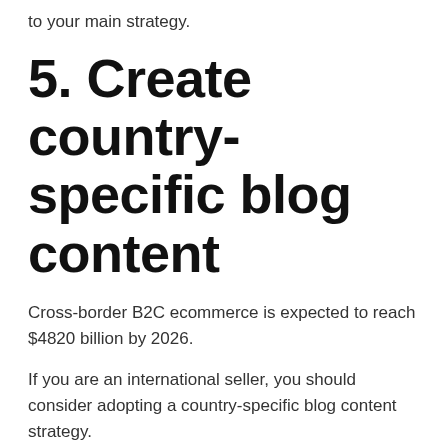to your main strategy.
5. Create country-specific blog content
Cross-border B2C ecommerce is expected to reach $4820 billion by 2026.
If you are an international seller, you should consider adopting a country-specific blog content strategy.
Country of origin affects consumer behavior.